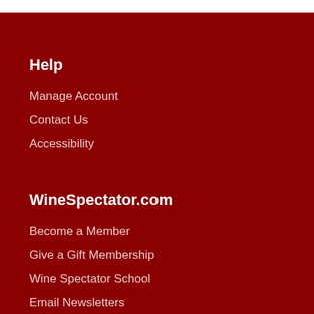Help
Manage Account
Contact Us
Accessibility
WineSpectator.com
Become a Member
Give a Gift Membership
Wine Spectator School
Email Newsletters